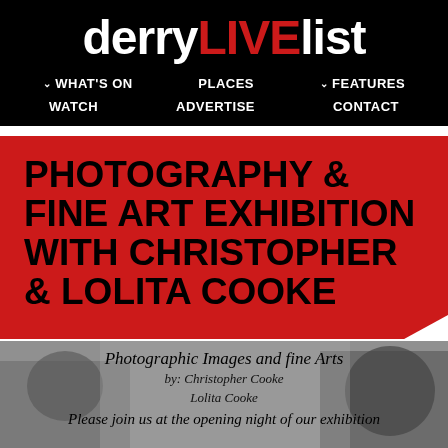derryLIVElist
WHAT'S ON  PLACES  FEATURES  WATCH  ADVERTISE  CONTACT
PHOTOGRAPHY & FINE ART EXHIBITION WITH CHRISTOPHER & LOLITA COOKE
[Figure (photo): Black and white photograph with text overlay: 'Photographic Images and fine Arts by: Christopher Cooke Lolita Cooke Please join us at the opening night of our exhibition']